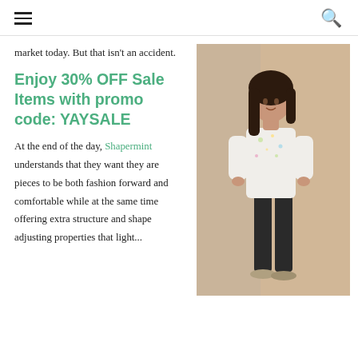☰  🔍
market today. But that isn't an accident.
Enjoy 30% OFF Sale Items with promo code: YAYSALE
[Figure (photo): Woman in white floral sweater and black leather leggings with silver sandals, posing against a beige background]
At the end of the day, Shapermint understands that they want they are pieces to be both fashion forward and comfortable while at the same time offering extra structure and shape adjusting properties that light...